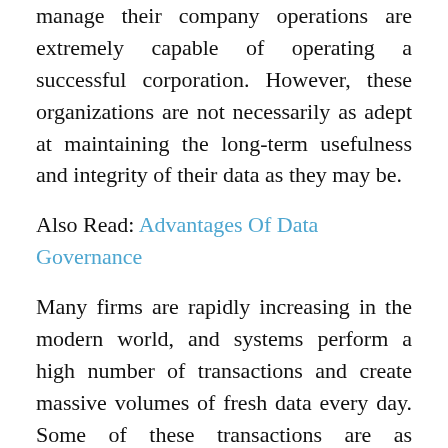manage their company operations are extremely capable of operating a successful corporation. However, these organizations are not necessarily as adept at maintaining the long-term usefulness and integrity of their data as they may be.
Also Read: Advantages Of Data Governance
Many firms are rapidly increasing in the modern world, and systems perform a high number of transactions and create massive volumes of fresh data every day. Some of these transactions are as straightforward as adding a new client, vendor, or material, while others involve the addition of payments, credits, and debits. Whether the data is entered manually or digitally, there is always the risk that it may be recorded improperly or in duplicate, resulting in a massive data disaster for decision-